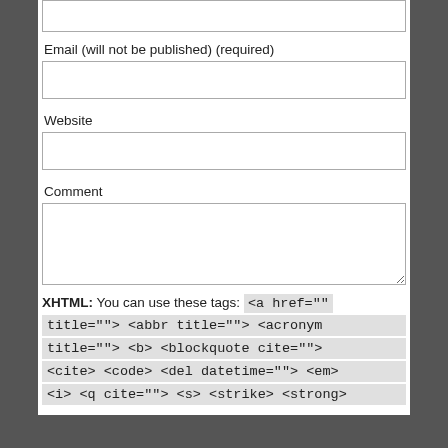Email (will not be published) (required)
Website
Comment
XHTML: You can use these tags: <a href="" title=""> <abbr title=""> <acronym title=""> <b> <blockquote cite=""> <cite> <code> <del datetime=""> <em> <i> <q cite=""> <s> <strike> <strong>